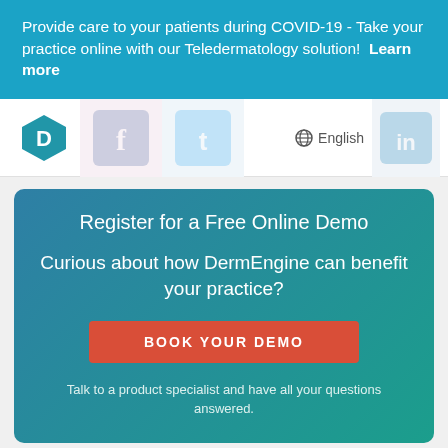Provide care to your patients during COVID-19 - Take your practice online with our Teledermatology solution!  Learn more
[Figure (logo): DermEngine hexagon logo icon with letter D, social media icons (Facebook, Twitter, LinkedIn), and English language selector in navigation bar]
Register for a Free Online Demo
Curious about how DermEngine can benefit your practice?
BOOK YOUR DEMO
Talk to a product specialist and have all your questions answered.